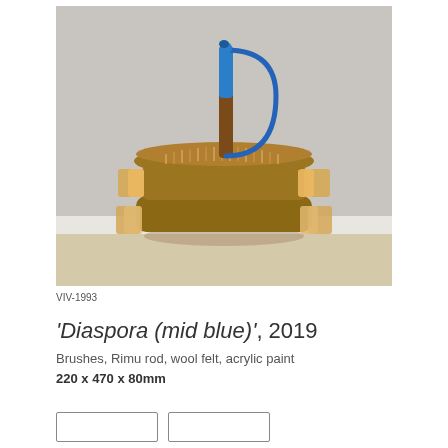[Figure (photo): Photograph of a sculptural artwork: stacked brushes with natural bristles and wooden frames, with a blue-painted Rimu rod handle rising vertically and a blue metal loop. The object sits on a wooden floor against a white baseboard and grey wall.]
VIV-1993
'Diaspora (mid blue)', 2019
Brushes, Rimu rod, wool felt, acrylic paint
220 x 470 x 80mm